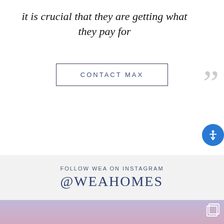it is crucial that they are getting what they pay for
CONTACT MAX
FOLLOW WEA ON INSTAGRAM @WEAHOMES
[Figure (photo): Aerial/elevated photo of a residential neighborhood at sunset/dusk with pink and purple sky, palm trees and tropical vegetation, white hillside homes visible]